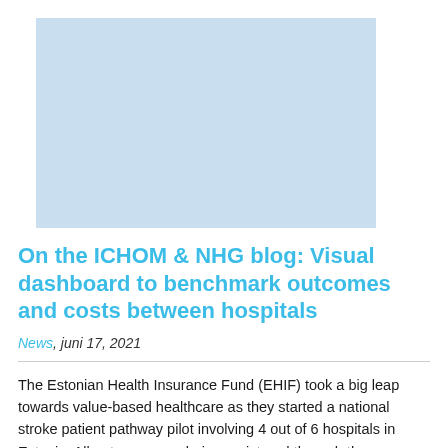[Figure (photo): Light blue rectangular placeholder image at the top of the article]
On the ICHOM & NHG blog: Visual dashboard to benchmark outcomes and costs between hospitals
News, juni 17, 2021
The Estonian Health Insurance Fund (EHIF) took a big leap towards value-based healthcare as they started a national stroke patient pathway pilot involving 4 out of 6 hospitals in Estonia. All outcomes are being registered through the